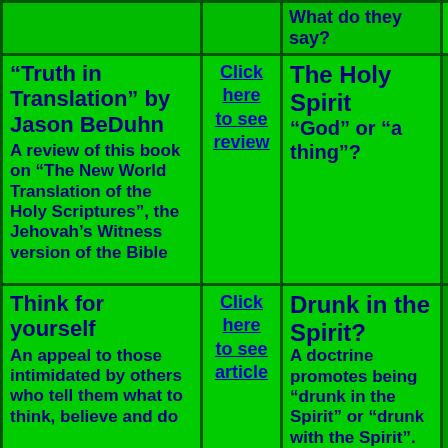|  |  | What do they say? |  |
| "Truth in Translation" by Jason BeDuhn
A review of this book on "The New World Translation of the Holy Scriptures", the Jehovah's Witness version of the Bible | Click here to see review | The Holy Spirit
"God" or "a thing"? |  |
| Think for yourself
An appeal to those intimidated by others who tell them what to think, believe and do | Click here to see article | Drunk in the Spirit?
A doctrine promotes being "drunk in the Spirit" or "drunk with the Spirit". |  |